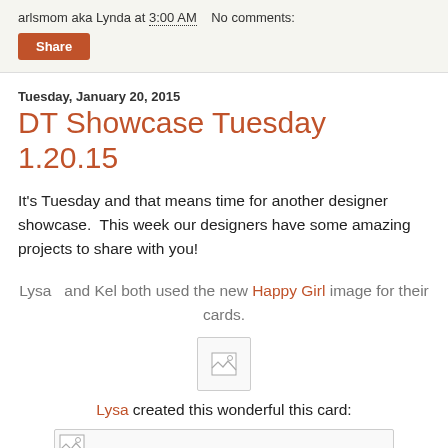arlsmom aka Lynda at 3:00 AM   No comments:
Share
Tuesday, January 20, 2015
DT Showcase Tuesday 1.20.15
It's Tuesday and that means time for another designer showcase.  This week our designers have some amazing projects to share with you!
Lysa  and Kel both used the new Happy Girl image for their cards.
[Figure (photo): Broken image placeholder icon]
Lysa created this wonderful this card:
[Figure (photo): Broken image placeholder icon at bottom]